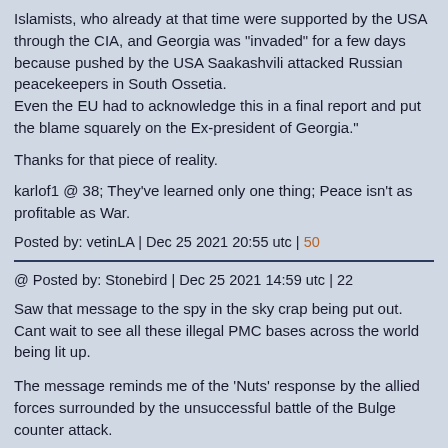Islamists, who already at that time were supported by the USA through the CIA, and Georgia was "invaded" for a few days because pushed by the USA Saakashvili attacked Russian peacekeepers in South Ossetia.
Even the EU had to acknowledge this in a final report and put the blame squarely on the Ex-president of Georgia."
Thanks for that piece of reality.
karlof1 @ 38; They've learned only one thing; Peace isn't as profitable as War.
Posted by: vetinLA | Dec 25 2021 20:55 utc | 50
@ Posted by: Stonebird | Dec 25 2021 14:59 utc | 22
Saw that message to the spy in the sky crap being put out. Cant wait to see all these illegal PMC bases across the world being lit up.
The message reminds me of the 'Nuts' response by the allied forces surrounded by the unsuccessful battle of the Bulge counter attack.
It does therefore seem to imply that this may be NatoFascisms last ditch attempt at EurAsia supremacy - with actual ditches! Which would easily form the graves of these who lurk in them with unattainable delusions.